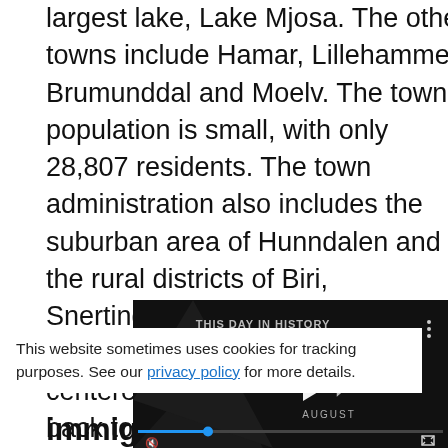largest lake, Lake Mjosa. The other towns include Hamar, Lillehammer, Brumunddal and Moelv. The town's population is small, with only 28,807 residents. The town administration also includes the suburban area of Hunndalen and the rural districts of Biri, Snertingdal, and Vardal. Gjovik's early industry was originally centered around glassworks, dating back to the early 1800s. The city continued to grow through immigration throughout the 1800s until it was given a town charter. The economy today is...
[Figure (screenshot): Video player overlay showing 'THIS DAY IN HISTORY' with a play button, blue logo marks, progress bar, mute and fullscreen controls, and 'AUGUST' label on dark background.]
This website sometimes uses cookies for tracking purposes. See our privacy policy for more details.
immigration secu...